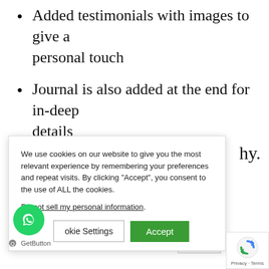Added testimonials with images to give a personal touch
Journal is also added at the end for in-deep details
Clear product descriptions.
Easy navigation.
hy.
We use cookies on our website to give you the most relevant experience by remembering your preferences and repeat visits. By clicking “Accept”, you consent to the use of ALL the cookies.
Do not sell my personal information.
[Figure (screenshot): Cookie consent overlay with 'Cookie Settings' and 'Accept' buttons, WhatsApp chat bubble, GetButton branding, reCAPTCHA badge, and partial search bar.]